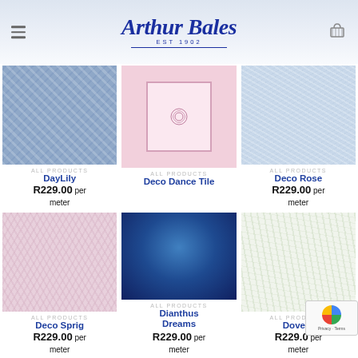Arthur Bales EST 1902
[Figure (photo): Fabric swatch - DayLily, blue floral pattern]
ALL PRODUCTS
DayLily
R229.00 per meter
[Figure (photo): Fabric swatch - Deco Dance Tile, pink floral tile]
ALL PRODUCTS
Deco Dance Tile
[Figure (photo): Fabric swatch - Deco Rose, light blue floral]
ALL PRODUCTS
Deco Rose
R229.00 per meter
[Figure (photo): Fabric swatch - Deco Sprig, pink small repeat pattern]
ALL PRODUCTS
Deco Sprig
R229.00 per meter
[Figure (photo): Fabric swatch - Dianthus Dreams, dark blue floral]
ALL PRODUCTS
Dianthus Dreams
R229.00 per meter
[Figure (photo): Fabric swatch - Dove S, white/cream light pattern]
ALL PRODUCTS
Dove S
R229.0 per meter